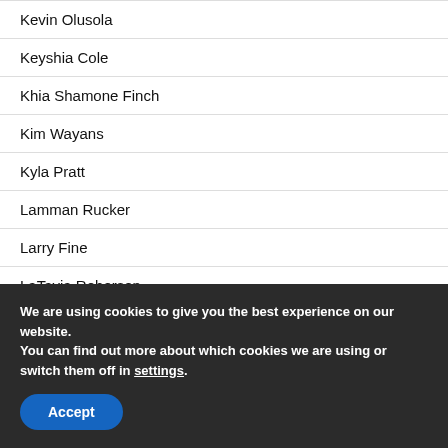Kevin Olusola
Keyshia Cole
Khia Shamone Finch
Kim Wayans
Kyla Pratt
Lamman Rucker
Larry Fine
LaTavia Roberson
Lauren Holly
We are using cookies to give you the best experience on our website.
You can find out more about which cookies we are using or switch them off in settings.